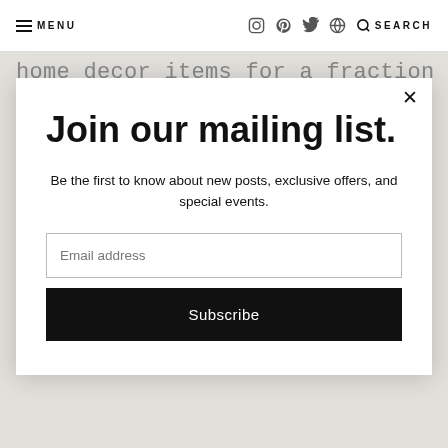MENU  [icons: instagram, pinterest, twitter, globe]  SEARCH
home decor items for a fraction of the full
Join our mailing list.
Be the first to know about new posts, exclusive offers, and special events.
Email address
Subscribe